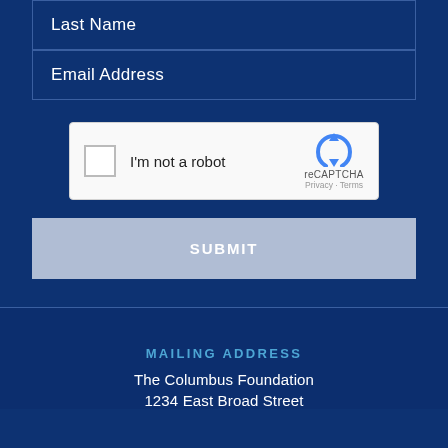Last Name
Email Address
[Figure (other): reCAPTCHA widget with checkbox labeled 'I'm not a robot' and reCAPTCHA logo with Privacy and Terms links]
SUBMIT
MAILING ADDRESS
The Columbus Foundation
1234 East Broad Street